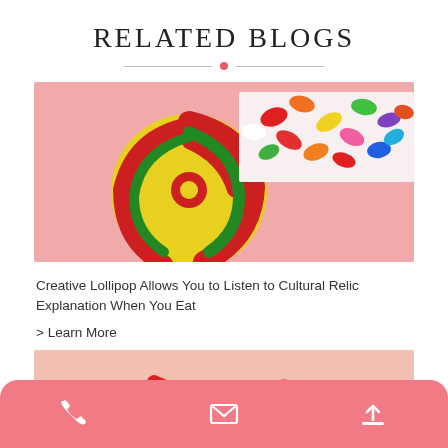RELATED BLOGS
[Figure (photo): Colorful swirl lollipop on pink background on the left, and assorted jelly beans on the right]
Creative Lollipop Allows You to Listen to Cultural Relic Explanation When You Eat
> Learn More
[Figure (photo): Two colorful swirl lollipops on a pink/peach background, partially visible at the bottom of the page]
[Figure (infographic): Pink rounded bottom navigation bar with phone, mail, and upload/share icons in white]